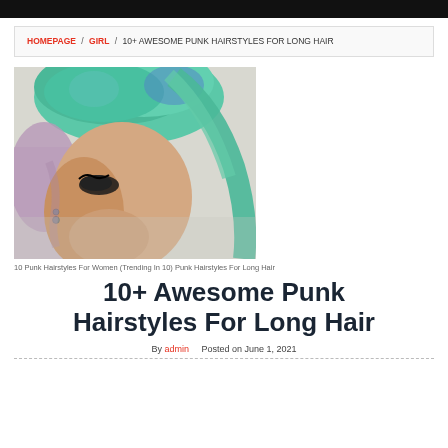HOMEPAGE / GIRL / 10+ AWESOME PUNK HAIRSTYLES FOR LONG HAIR
[Figure (photo): Close-up photo of a person with teal/green punk hairstyle with shaved sides, wearing facial piercings, viewed from the side/front.]
10 Punk Hairstyles For Women (Trending In 10) Punk Hairstyles For Long Hair
10+ Awesome Punk Hairstyles For Long Hair
By admin   Posted on June 1, 2021